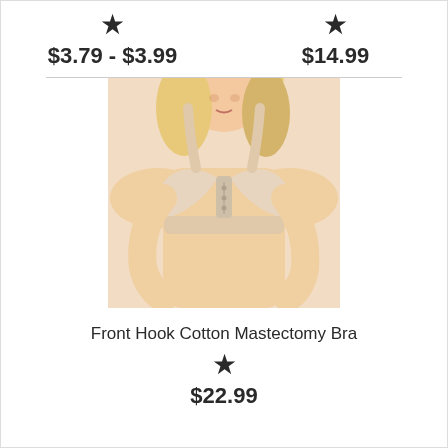★
$3.79 - $3.99
★
$14.99
[Figure (photo): A woman wearing a beige/nude front hook cotton mastectomy bra, photographed from the waist up against a white background.]
Front Hook Cotton Mastectomy Bra
★
$22.99